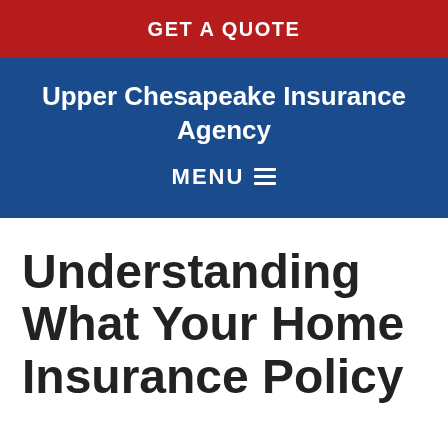GET A QUOTE
Upper Chesapeake Insurance Agency
MENU
Understanding What Your Home Insurance Policy